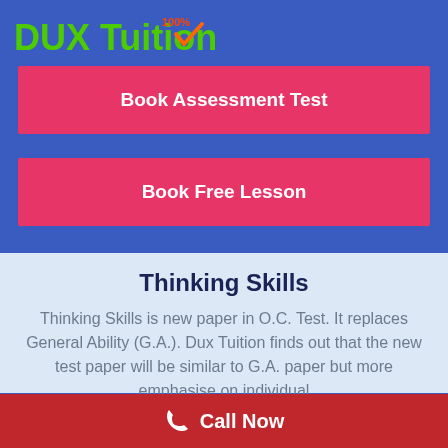[Figure (logo): DUX Tuition logo with green bold text and a checkmark, '100%' in red superscript]
Book Assessment Test
Book Free Lesson
Thinking Skills
Thinking Skills is new paper in O.C. Test. It replaces General Ability (G.A.). Dux Tuition finds out that the new test paper will be similar to G.A. paper but more emphasise on individual
Call Now